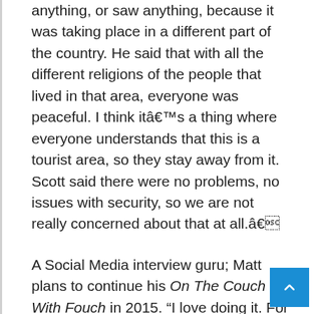anything, or saw anything, because it was taking place in a different part of the country. He said that with all the different religions of the people that lived in that area, everyone was peaceful. I think itâs a thing where everyone understands that this is a tourist area, so they stay away from it. Scott said there were no problems, no issues with security, so we are not really concerned about that at all.â
A Social Media interview guru; Matt plans to continue his On The Couch With Fouch in 2015. “I love doing it. For those who are reading, one of the really unique things about the interview series is that the audience gets to ask the questions! Itâs Social Media driven. So if you are reading this, you are probably on the Internet, or on Facebook. I read a statistic that about 70 or 80% of Americans have a